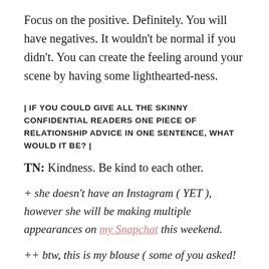Focus on the positive. Definitely. You will have negatives. It wouldn't be normal if you didn't. You can create the feeling around your scene by having some lighthearted-ness.
| IF YOU COULD GIVE ALL THE SKINNY CONFIDENTIAL READERS ONE PIECE OF RELATIONSHIP ADVICE IN ONE SENTENCE, WHAT WOULD IT BE? |
TN: Kindness. Be kind to each other.
+ she doesn't have an Instagram ( YET ), however she will be making multiple appearances on my Snapchat this weekend.
++ btw, this is my blouse ( some of you asked!